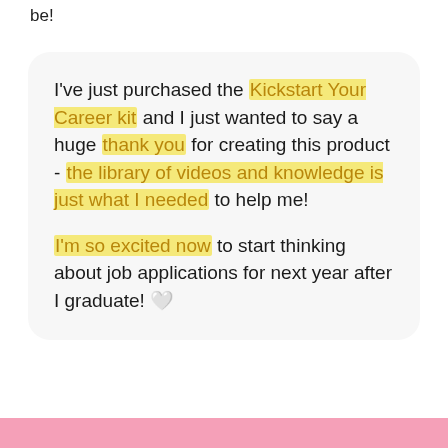be!
I've just purchased the Kickstart Your Career kit and I just wanted to say a huge thank you for creating this product - the library of videos and knowledge is just what I needed to help me!

I'm so excited now to start thinking about job applications for next year after I graduate! 🤍